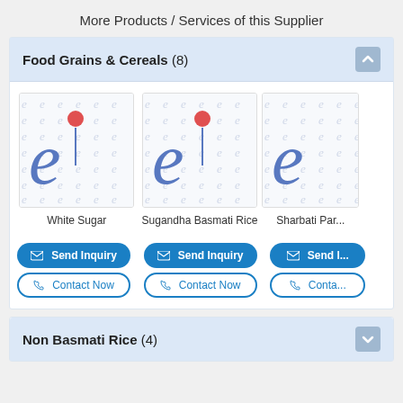More Products / Services of this Supplier
Food Grains & Cereals (8)
[Figure (logo): IndiaMART 'e' logo placeholder image for White Sugar product]
White Sugar
[Figure (logo): IndiaMART 'e' logo placeholder image for Sugandha Basmati Rice product]
Sugandha Basmati Rice
[Figure (logo): IndiaMART 'e' logo placeholder image for Sharbati Par... product]
Sharbati Par...
Send Inquiry
Contact Now
Send Inquiry
Contact Now
Send I...
Conta...
Non Basmati Rice (4)